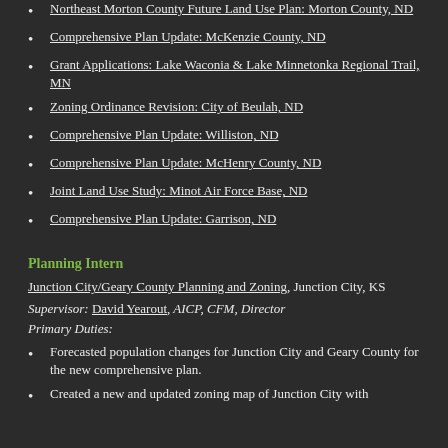Northeast Morton County Future Land Use Plan: Morton County, ND
Comprehensive Plan Update: McKenzie County, ND
Grant Applications: Lake Waconia & Lake Minnetonka Regional Trail, MN
Zoning Ordinance Revision: City of Beulah, ND
Comprehensive Plan Update: Williston, ND
Comprehensive Plan Update: McHenry County, ND
Joint Land Use Study: Minot Air Force Base, ND
Comprehensive Plan Update: Garrison, ND
Planning Intern
Junction City/Geary County Planning and Zoning, Junction City, KS
Supervisor: David Yearout, AICP, CFM, Director
Primary Duties:
Forecasted population changes for Junction City and Geary County for the new comprehensive plan.
Created a new and updated zoning map of Junction City with